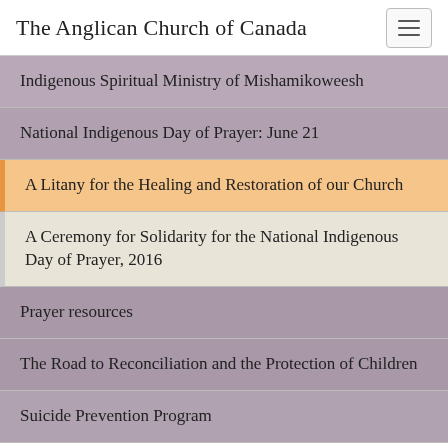The Anglican Church of Canada
Indigenous Spiritual Ministry of Mishamikoweesh
National Indigenous Day of Prayer: June 21
A Litany for the Healing and Restoration of our Church
A Ceremony for Solidarity for the National Indigenous Day of Prayer, 2016
Prayer resources
The Road to Reconciliation and the Protection of Children
Suicide Prevention Program